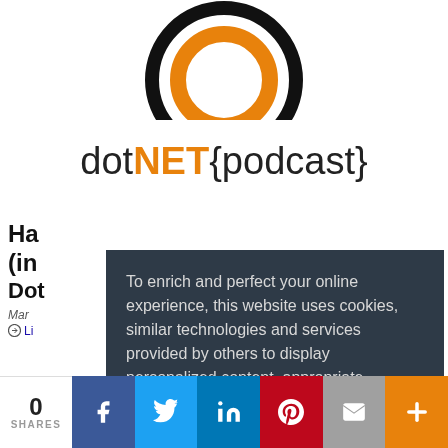[Figure (logo): dotNET{podcast} logo with concentric circles in orange and black above the text 'dotNET{podcast}']
Ha... (in...
Mar... Li...
To enrich and perfect your online experience, this website uses cookies, similar technologies and services provided by others to display personalized content, appropriate advertising and store your preferences on your computer. By clicking 'Accept', you hereby acknowledge and agree the use of cookies. Learn more
Dismiss | Allow
0 SHARES
[Figure (infographic): Social share bar with Facebook, Twitter, LinkedIn, Pinterest, Email, and More buttons]